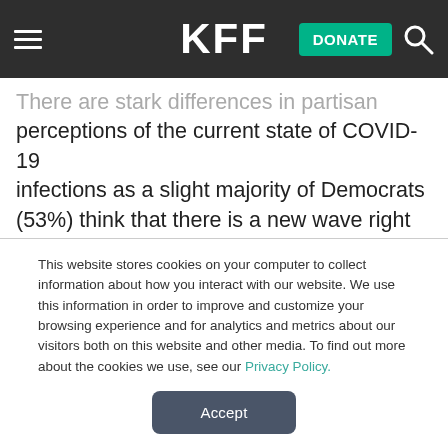KFF — DONATE
There are stark differences in partisan perceptions of the current state of COVID-19 infections as a slight majority of Democrats (53%) think that there is a new wave right now in the U.S., while seven in ten Republicans think there is not. Notably, almost three-quarters of unvaccinated adults (73%) do not think there is a new wave of COVID-19 infections in the U.S.,
This website stores cookies on your computer to collect information about how you interact with our website. We use this information in order to improve and customize your browsing experience and for analytics and metrics about our visitors both on this website and other media. To find out more about the cookies we use, see our Privacy Policy.
Accept